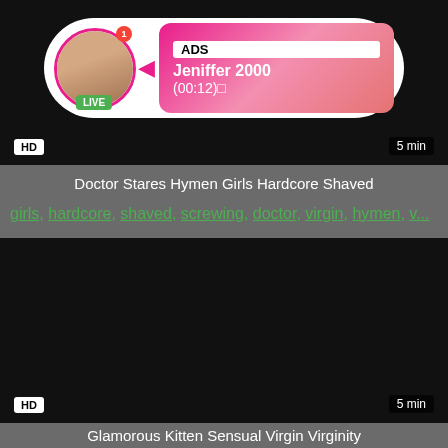[Figure (screenshot): Video thumbnail with ad overlay showing live user 'Jeniffer 2000', HD badge, 5 min duration]
Doctor Stares Hymen Girls Hardcore Shaved
girls, hardcore, shaved, screwing, doctor, virgin, hymen, v...
[Figure (screenshot): Black video thumbnail with HD badge and 5 min duration]
Glamorous Kitten Sensual Virgin Virginity